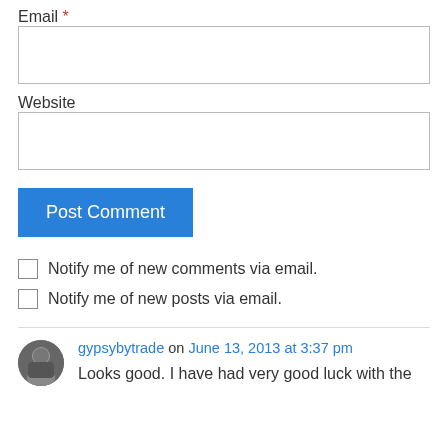Email *
Website
Post Comment
Notify me of new comments via email.
Notify me of new posts via email.
gypsybytrade on June 13, 2013 at 3:37 pm
Looks good. I have had very good luck with the